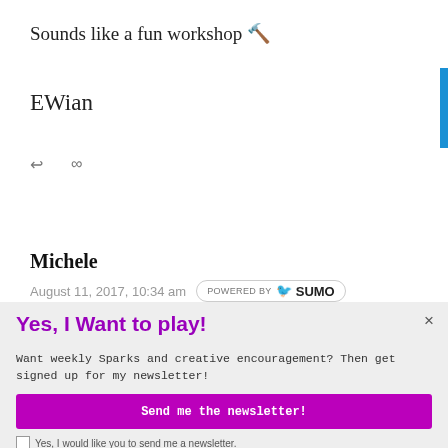Sounds like a fun workshop 🔨
EWian
↩   ∞
Michele
August 11, 2017, 10:34 am
Yes, I Want to play!
Want weekly Sparks and creative encouragement? Then get signed up for my newsletter!
Enter your Email
Send me the newsletter!
Yes, I would like you to send me a newsletter.